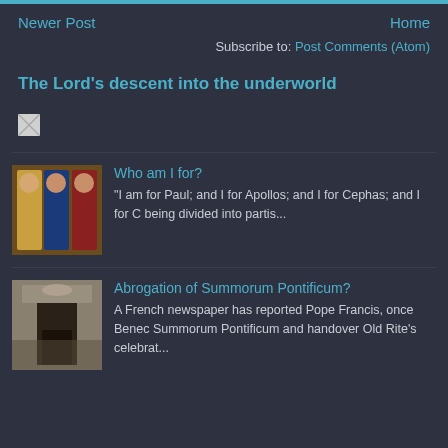Newer Post    Home
Subscribe to: Post Comments (Atom)
The Lord's descent into the underworld
[Figure (photo): Broken/missing image placeholder]
[Figure (photo): Thumbnail image of three religious figures in robes]
Who am I for?
"I am for Paul; and I for Apollos; and I for Cephas; and I for C being divided into  partis...
[Figure (photo): Thumbnail image of a church doorway with people gathered]
Abrogation of Summorum Pontificum?
A French newspaper has reported Pope Francis, once Benec Summorum Pontificum and handover Old Rite's celebrat...